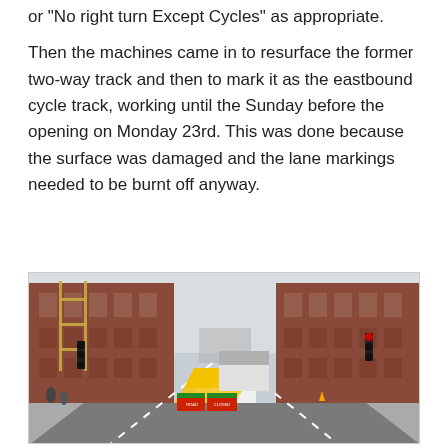or “No right turn Except Cycles” as appropriate.
Then the machines came in to resurface the former two-way track and then to mark it as the eastbound cycle track, working until the Sunday before the opening on Monday 23rd. This was done because the surface was damaged and the lane markings needed to be burnt off anyway.
[Figure (photo): Street-level photo of a London street lined with red-brick buildings on both sides. Road closure barriers and a yellow-chevron road maintenance vehicle are visible in the middle of the road. Traffic lights are visible on both sides. The street recedes into the distance under an overcast sky.]